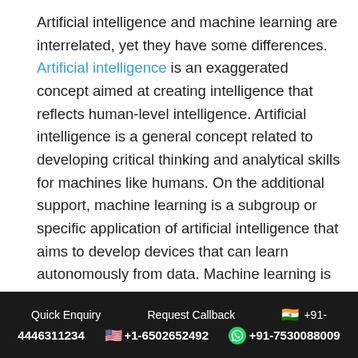Artificial intelligence and machine learning are interrelated, yet they have some differences. Artificial intelligence is an exaggerated concept aimed at creating intelligence that reflects human-level intelligence. Artificial intelligence is a general concept related to developing critical thinking and analytical skills for machines like humans. On the additional support, machine learning is a subgroup or specific application of artificial intelligence that aims to develop devices that can learn autonomously from data. Machine learning is explicit, not general. It permits a device to perform predictions or make certain conclusions about a particular problem using data.
Quick Enquiry | Request Callback | +91- | 4446311234 | +1-6502652492 | +91-7530088009